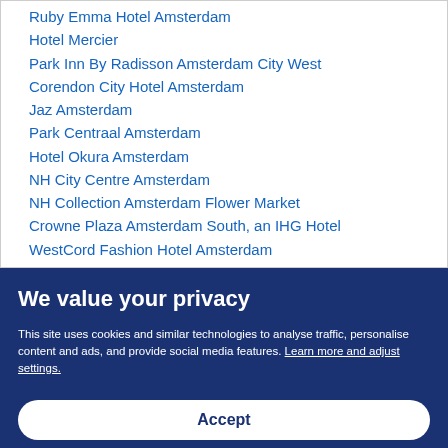Ruby Emma Hotel Amsterdam
Hotel Mercier
Park Inn By Radisson Amsterdam City West
Corendon City Hotel Amsterdam
Jaz Amsterdam
Park Centraal Amsterdam
Hotel Okura Amsterdam
NH City Centre Amsterdam
NH Collection Amsterdam Flower Market
Crowne Plaza Amsterdam South, an IHG Hotel
WestCord Fashion Hotel Amsterdam
We value your privacy
This site uses cookies and similar technologies to analyse traffic, personalise content and ads, and provide social media features. Learn more and adjust settings.
Accept